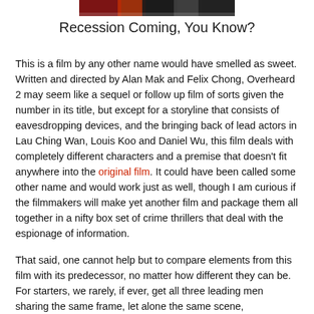[Figure (photo): Partial photo strip at top of page showing people, likely actors]
Recession Coming, You Know?
This is a film by any other name would have smelled as sweet. Written and directed by Alan Mak and Felix Chong, Overheard 2 may seem like a sequel or follow up film of sorts given the number in its title, but except for a storyline that consists of eavesdropping devices, and the bringing back of lead actors in Lau Ching Wan, Louis Koo and Daniel Wu, this film deals with completely different characters and a premise that doesn't fit anywhere into the original film. It could have been called some other name and would work just as well, though I am curious if the filmmakers will make yet another film and package them all together in a nifty box set of crime thrillers that deal with the espionage of information.
That said, one cannot help but to compare elements from this film with its predecessor, no matter how different they can be. For starters, we rarely, if ever, get all three leading men sharing the same frame, let alone the same scene,